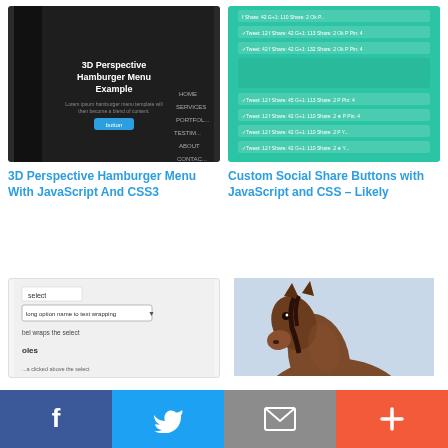[Figure (screenshot): Screenshot of a dark-themed website showing a 3D Perspective Hamburger Menu Example with navigation links HOME, SERVICES, PORTFOLIO, TESTIMONIALS, ABOUT, CONTACT]
[Figure (screenshot): Screenshot of a teal/green background page showing custom social share buttons rows with Tweet, Share, G+1, Share, Ok, Pin counts like 12, 42, 110, 2, etc.]
3D Perspective Hamburger Menu With JavaScript And CSS3
Custom Social Share Buttons with JavaScript and CSS – Likely
[Figure (screenshot): Screenshot of a web form showing a select dropdown with 'long option name to test wrapping' option, label wraps the select, and styles options]
[Figure (photo): Photo of a brown horse head outdoors against a light sky background]